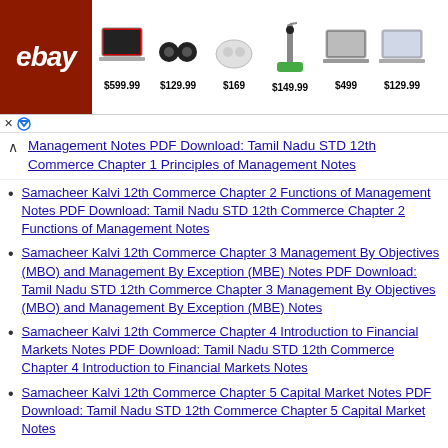[Figure (screenshot): eBay advertisement banner showing products: laptop $599.99, earbuds $129.99, wireless earphones $169, vacuum $149.99, laptop $499, laptop $129.99]
Management Notes PDF Download: Tamil Nadu STD 12th Commerce Chapter 1 Principles of Management Notes
Samacheer Kalvi 12th Commerce Chapter 2 Functions of Management Notes PDF Download: Tamil Nadu STD 12th Commerce Chapter 2 Functions of Management Notes
Samacheer Kalvi 12th Commerce Chapter 3 Management By Objectives (MBO) and Management By Exception (MBE) Notes PDF Download: Tamil Nadu STD 12th Commerce Chapter 3 Management By Objectives (MBO) and Management By Exception (MBE) Notes
Samacheer Kalvi 12th Commerce Chapter 4 Introduction to Financial Markets Notes PDF Download: Tamil Nadu STD 12th Commerce Chapter 4 Introduction to Financial Markets Notes
Samacheer Kalvi 12th Commerce Chapter 5 Capital Market Notes PDF Download: Tamil Nadu STD 12th Commerce Chapter 5 Capital Market Notes
Samacheer Kalvi 12th Commerce Chapter 6 Money Market...